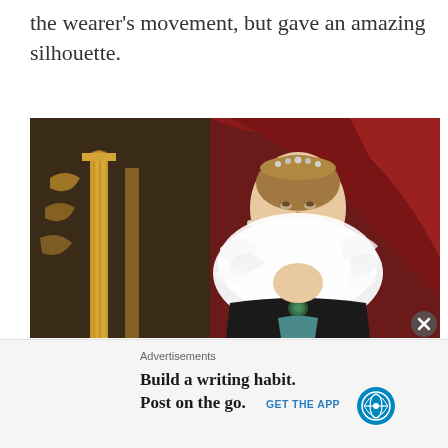the wearer's movement, but gave an amazing silhouette.
[Figure (photo): A classical oil painting portrait of a noble woman wearing an elaborate white ruff collar and jeweled crown/tiara, with red drapery and ornate golden columns in the background. Baroque style painting.]
Advertisements
Build a writing habit. Post on the go.
GET THE APP